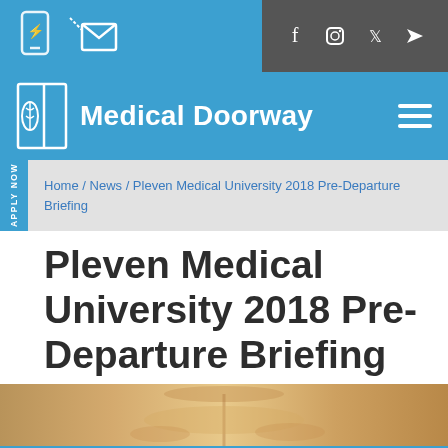Medical Doorway - top navigation bar with social icons
[Figure (logo): Medical Doorway logo with door and caduceus icon and site name]
Home / News / Pleven Medical University 2018 Pre-Departure Briefing
Pleven Medical University 2018 Pre-Departure Briefing
[Figure (photo): Partial photo of what appears to be a chandelier or ornate ceiling fixture in a warm golden/beige tone]
Our website uses Cookies.
Okay   Cookie Policy